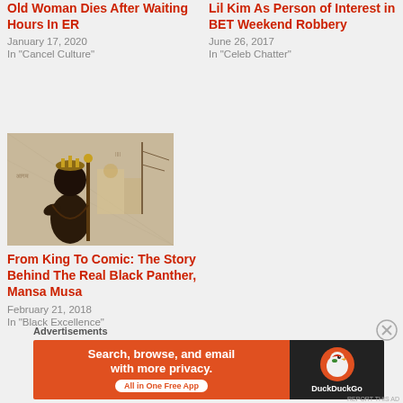Old Woman Dies After Waiting Hours In ER
January 17, 2020
In "Cancel Culture"
Lil Kim As Person of Interest in BET Weekend Robbery
June 26, 2017
In "Celeb Chatter"
[Figure (photo): Historical illustration of a Black African king or warrior figure with a staff, wearing traditional garments, with ships and buildings in the background]
From King To Comic: The Story Behind The Real Black Panther, Mansa Musa
February 21, 2018
In "Black Excellence"
Advertisements
[Figure (screenshot): DuckDuckGo advertisement banner: orange left panel with text 'Search, browse, and email with more privacy. All in One Free App' and dark right panel with DuckDuckGo duck logo and brand name]